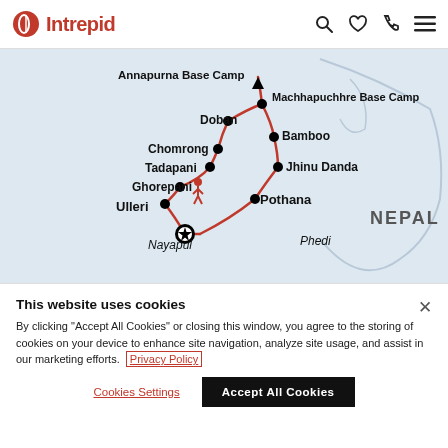Intrepid
[Figure (map): Route map of Annapurna Base Camp trek in Nepal showing locations: Annapurna Base Camp, Machhapuchhre Base Camp, Doban, Chomrong, Tadapani, Ghorepani, Bamboo, Jhinu Danda, Ulleri, Pothana, Nayapul, Phedi. Red route lines connect the locations with dots/markers.]
This website uses cookies
By clicking "Accept All Cookies" or closing this window, you agree to the storing of cookies on your device to enhance site navigation, analyze site usage, and assist in our marketing efforts. Privacy Policy
Cookies Settings | Accept All Cookies